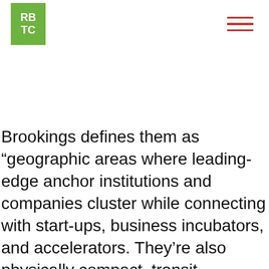RBTC
Brookings defines them as “geographic areas where leading-edge anchor institutions and companies cluster while connecting with start-ups, business incubators, and accelerators. They’re also physically compact, transit-accessible, and technically-wired and offer mixed-use housing, office, and retail.” Innovation districts are found near anchor institutions like in Atlanta, Baltimore, or Cambridge, while some are in re-imagined industrial areas such as those in Boston, Chicago, or Seattle. Katz calls these districts the “ultimate mash-up of entrepreneurs and educational institutions, start-ups and